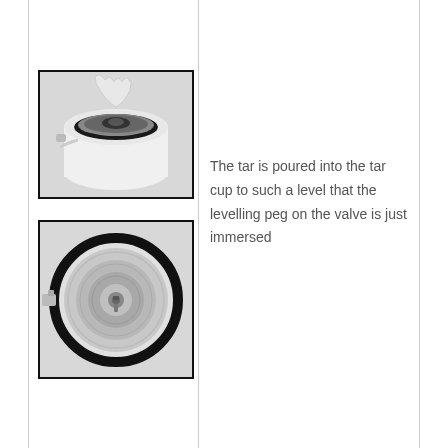[Figure (photo): Photo of a hand pouring tar into a tar cup of a device, top view showing the opening of the cylindrical apparatus]
[Figure (photo): Close-up top-down photo of the tar cup showing the levelling peg/valve in the center of the circular metallic cup with a black rubber seal ring]
The tar is poured into the tar cup to such a level that the levelling peg on the valve is just immersed